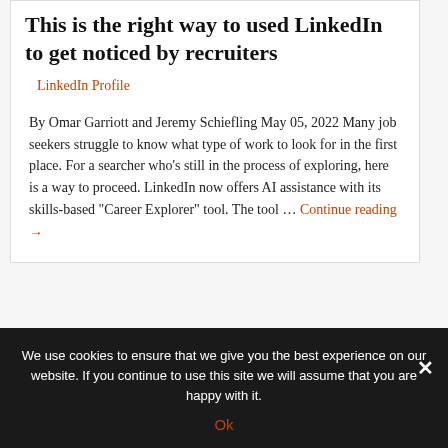This is the right way to used LinkedIn to get noticed by recruiters
LinkedIn Profile
By Omar Garriott and Jeremy Schiefling May 05, 2022 Many job seekers struggle to know what type of work to look for in the first place. For a searcher who's still in the process of exploring, here is a way to proceed. LinkedIn now offers AI assistance with its skills-based “Career Explorer” tool. The tool … Continue reading →
We use cookies to ensure that we give you the best experience on our website. If you continue to use this site we will assume that you are happy with it.
Ok